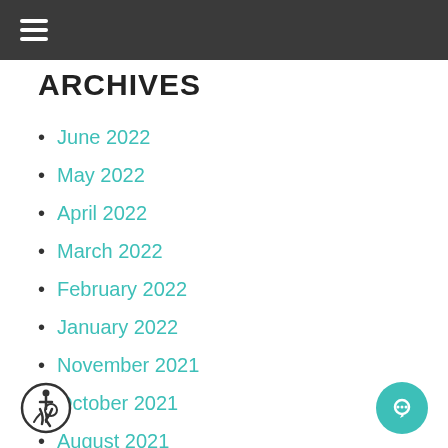≡
ARCHIVES
June 2022
May 2022
April 2022
March 2022
February 2022
January 2022
November 2021
October 2021
August 2021
June 2021
April 2021
March 2021